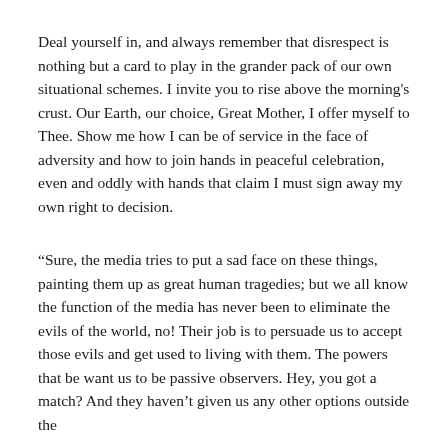Deal yourself in, and always remember that disrespect is nothing but a card to play in the grander pack of our own situational schemes. I invite you to rise above the morning's crust. Our Earth, our choice, Great Mother, I offer myself to Thee. Show me how I can be of service in the face of adversity and how to join hands in peaceful celebration, even and oddly with hands that claim I must sign away my own right to decision.
“Sure, the media tries to put a sad face on these things, painting them up as great human tragedies; but we all know the function of the media has never been to eliminate the evils of the world, no! Their job is to persuade us to accept those evils and get used to living with them. The powers that be want us to be passive observers. Hey, you got a match? And they haven’t given us any other options outside the